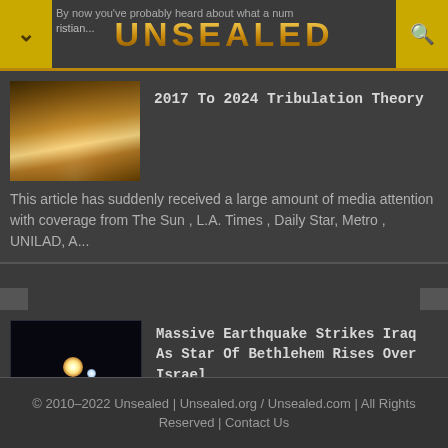UNSEALED
[Figure (photo): Thumbnail image of bright light rays emanating upward, golden tones]
2017 To 2024 Tribulation Theory
This article has suddenly received a large amount of media attention with coverage from The Sun , L.A. Times , Daily Star, Metro , UNILAD, A...
[Figure (photo): Thumbnail image of two bright stars/celestial objects against black space background]
Massive Earthquake Strikes Iraq As Star Of Bethlehem Rises Over Israel
A massive 7.3 magnitude earthquake has just struck Halabjah, Iraq , just miles from the Iraqi/Iranian border as the long-expected Jupite...
© 2010–2022 Unsealed | Unsealed.org / Unsealed.com | All Rights Reserved | Contact Us